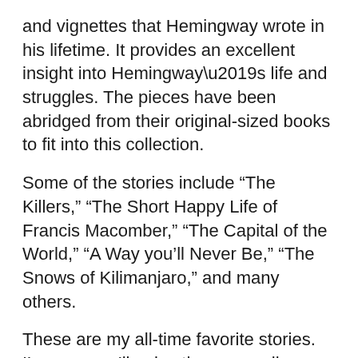and vignettes that Hemingway wrote in his lifetime. It provides an excellent insight into Hemingway’s life and struggles. The pieces have been abridged from their original-sized books to fit into this collection.
Some of the stories include “The Killers,” “The Short Happy Life of Francis Macomber,” “The Capital of the World,” “A Way you’ll Never Be,” “The Snows of Kilimanjaro,” and many others.
These are my all-time favorite stories. I’m sure you’ll enjoy them as well. Hemingway is a fantastic author, and these stories will help you in learning how to write your own stories.